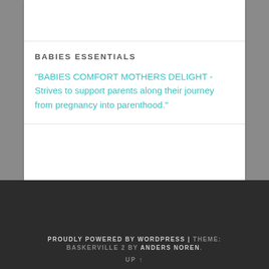BABIES ESSENTIALS
"BABIES COMFORT MOTHERS DELIGHT - Strives to support parents along their journey from pregnancy into parenthood."
PROUDLY POWERED BY WORDPRESS | THEME: BASKERVILLE 2 BY ANDERS NOREN. UP ↑